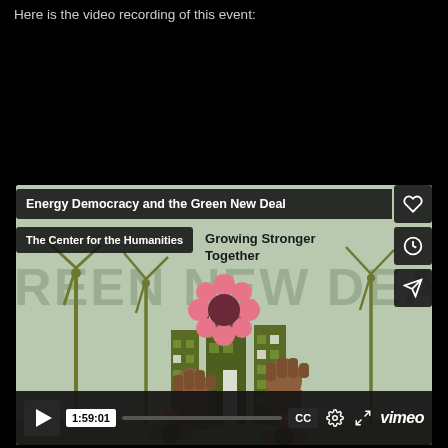Here is the video recording of this event:
[Figure (screenshot): Vimeo video player showing 'Energy Democracy and the Green New Deal' from The Center for the Humanities, with Growing Stronger Together tagline and an illustration of wind turbines, buildings, raised fists, and flowers. Video duration shown as 1:59:01. Player controls including play button, CC, settings, fullscreen, and Vimeo logo are visible.]